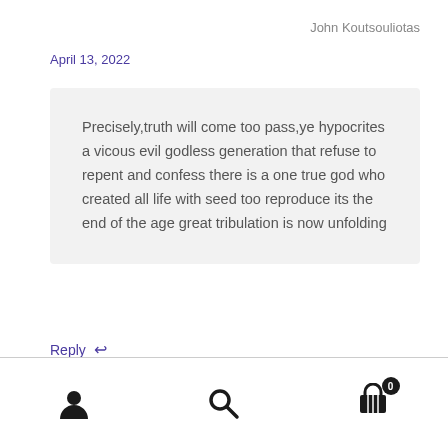John Koutsouliotas
April 13, 2022
Precisely,truth will come too pass,ye hypocrites a vicous evil godless generation that refuse to repent and confess there is a one true god who created all life with seed too reproduce its the end of the age great tribulation is now unfolding
Reply ↩
user icon | search icon | cart icon (0)